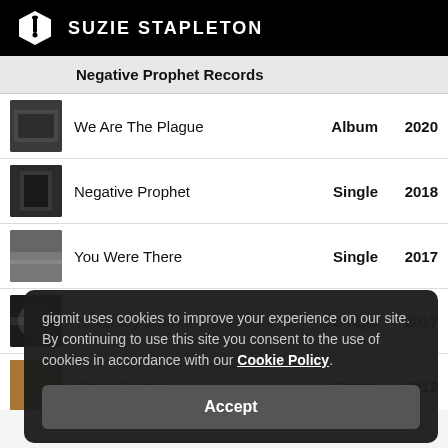SUZIE STAPLETON
Negative Prophet Records
We Are The Plague — Album 2020
Negative Prophet — Single 2018
You Were There — Single 2017
Yesterday's Town — Single 2017
Obladi Diablo — Single 2012
gigmit uses cookies to improve your experience on our site. By continuing to use this site you consent to the use of cookies in accordance with our Cookie Policy.
Accept